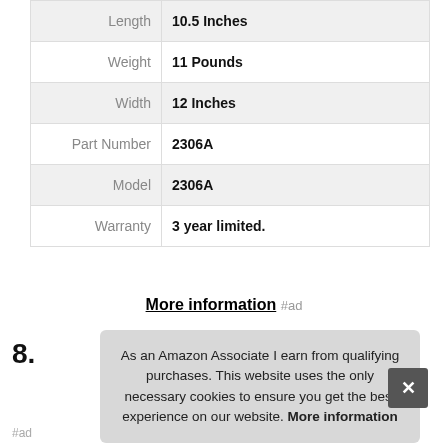| Length | 10.5 Inches |
| Weight | 11 Pounds |
| Width | 12 Inches |
| Part Number | 2306A |
| Model | 2306A |
| Warranty | 3 year limited. |
More information #ad
8.
As an Amazon Associate I earn from qualifying purchases. This website uses the only necessary cookies to ensure you get the best experience on our website. More information
#ad